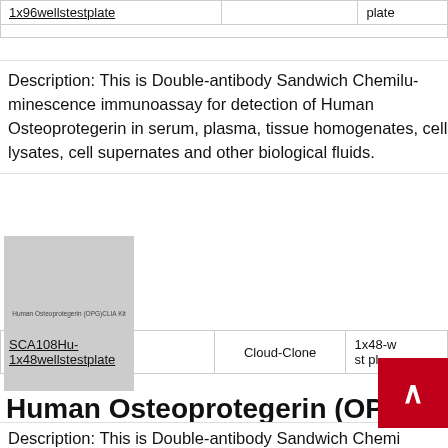| Product ID | Brand | Size |
| --- | --- | --- |
| 1x96wellstestplate |  | plate |
Description: This is Double-antibody Sandwich Chemiluminescence immunoassay for detection of Human Osteoprotegerin in serum, plasma, tissue homogenates, cell lysates, cell supernates and other biological fluids.
[Figure (photo): Product image placeholder for Human Osteoprotegerin (OPG) ELISA Kit]
Human Osteoprotegerin (OPG)C
| Product ID | Brand | Size |
| --- | --- | --- |
| SCA108Hu-1x48wellstestplate | Cloud-Clone | 1x48-wellstestplate |
Description: This is Double-antibody Sandwich Che...